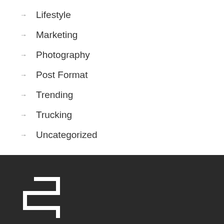→ Lifestyle
→ Marketing
→ Photography
→ Post Format
→ Trending
→ Trucking
→ Uncategorized
[Figure (logo): White staircase/steps logo mark on dark background]